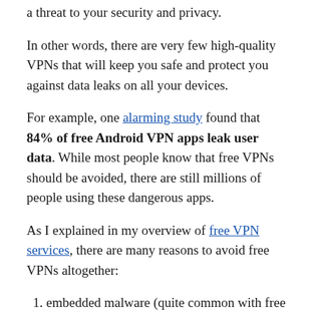a threat to your security and privacy.
In other words, there are very few high-quality VPNs that will keep you safe and protect you against data leaks on all your devices.
For example, one alarming study found that 84% of free Android VPN apps leak user data. While most people know that free VPNs should be avoided, there are still millions of people using these dangerous apps.
As I explained in my overview of free VPN services, there are many reasons to avoid free VPNs altogether:
embedded malware (quite common with free VPN apps)
hidden tracking (many popular VPN providers hide tracking in the apps to collect your data)